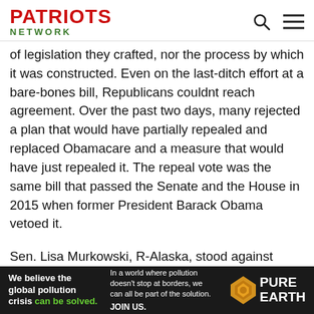PATRIOTS NETWORK
of legislation they crafted, nor the process by which it was constructed. Even on the last-ditch effort at a bare-bones bill, Republicans couldnt reach agreement. Over the past two days, many rejected a plan that would have partially repealed and replaced Obamacare and a measure that would have just repealed it. The repeal vote was the same bill that passed the Senate and the House in 2015 when former President Barack Obama vetoed it.
Sen. Lisa Murkowski, R-Alaska, stood against every version of the legislation even in the face of immense pressure. The Trump administration threatened to withhold federal resources from Alaska because of her opposition, according to the Alaska Daily News. Murkowski herself said the next
[Figure (infographic): Pure Earth advertisement banner with text: We believe the global pollution crisis can be solved. In a world where pollution doesn't stop at borders, we can all be part of the solution. JOIN US. Pure Earth logo.]